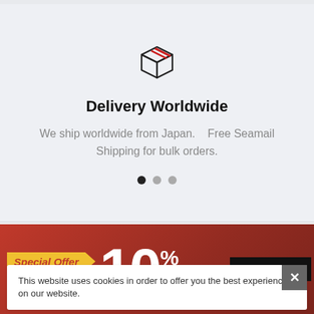[Figure (illustration): A line-art box/package icon with red diagonal stripes on the top face, representing worldwide delivery shipping.]
Delivery Worldwide
We ship worldwide from Japan.    Free Seamail Shipping for bulk orders.
[Figure (other): Pagination dots: three circles, first filled dark (active), second and third gray.]
ABOUT WHOLESALE JAPAN
This website uses cookies in order to offer you the best experience on our website.
Special Offer
Signup now and get
10% OFF!!
CLICK HERE!! >